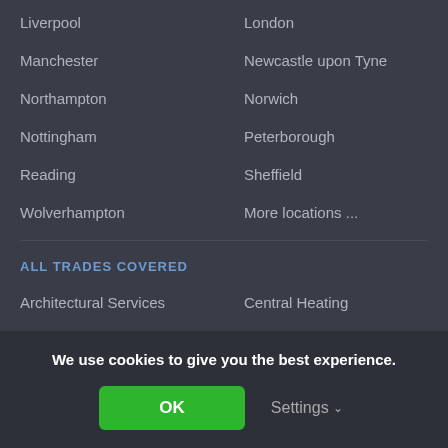Liverpool
London
Manchester
Newcastle upon Tyne
Northampton
Norwich
Nottingham
Peterborough
Reading
Sheffield
Wolverhampton
More locations ...
ALL TRADES COVERED
Architectural Services
Central Heating
Bathroom Fitting
Chimneys & Fireplaces
We use cookies to give you the best experience.